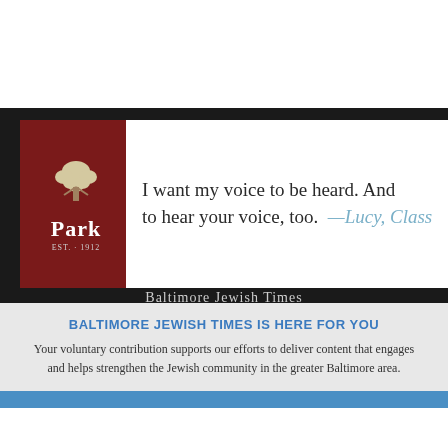[Figure (advertisement): Park School advertisement with tree logo on dark red background and quote: 'I want my voice to be heard. And to hear your voice, too. —Lucy, Class...']
Baltimore Jewish Times
11459 Cronhill Drive
Suite A
410-2300
BALTIMORE JEWISH TIMES IS HERE FOR YOU
Your voluntary contribution supports our efforts to deliver content that engages and helps strengthen the Jewish community in the greater Baltimore area.
CONTRIBUTE